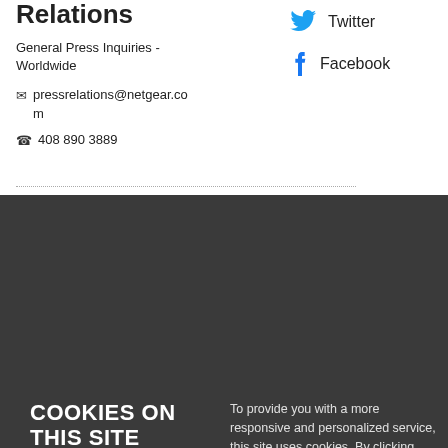Relations
General Press Inquiries - Worldwide
pressrelations@netgear.com
408 890 3889
Twitter
Facebook
COOKIES ON THIS SITE
To provide you with a more responsive and personalized service, this site uses cookies. By clicking "Accept", you agree to our use of cookies. For more information on the ones we use and how to delete or block them please read our policy.
ACCEPT & CLOSE
Read our cookie policy